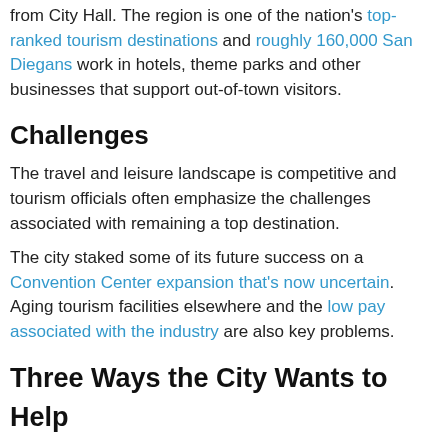from City Hall. The region is one of the nation's top-ranked tourism destinations and roughly 160,000 San Diegans work in hotels, theme parks and other businesses that support out-of-town visitors.
Challenges
The travel and leisure landscape is competitive and tourism officials often emphasize the challenges associated with remaining a top destination.
The city staked some of its future success on a Convention Center expansion that's now uncertain. Aging tourism facilities elsewhere and the low pay associated with the industry are also key problems.
Three Ways the City Wants to Help
• Make investments in publicly owned facilities and attractions, including the Convention Center